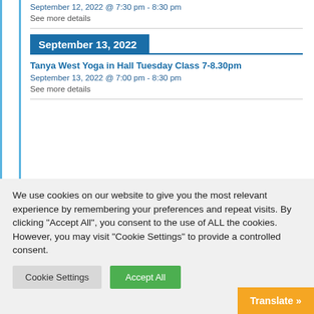September 12, 2022 @ 7:30 pm - 8:30 pm
See more details
September 13, 2022
Tanya West Yoga in Hall Tuesday Class 7-8.30pm
September 13, 2022 @ 7:00 pm - 8:30 pm
See more details
We use cookies on our website to give you the most relevant experience by remembering your preferences and repeat visits. By clicking "Accept All", you consent to the use of ALL the cookies. However, you may visit "Cookie Settings" to provide a controlled consent.
Cookie Settings
Accept All
Translate »